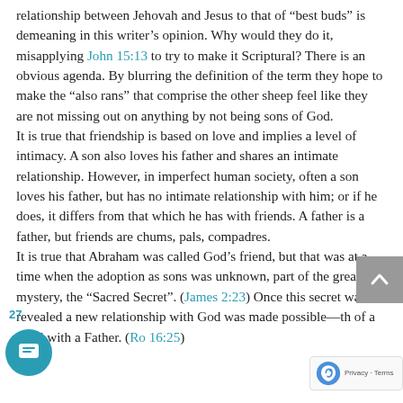relationship between Jehovah and Jesus to that of “best buds” is demeaning in this writer’s opinion. Why would they do it, misapplying John 15:13 to try to make it Scriptural? There is an obvious agenda. By blurring the definition of the term they hope to make the “also rans” that comprise the other sheep feel like they are not missing out on anything by not being sons of God.
It is true that friendship is based on love and implies a level of intimacy. A son also loves his father and shares an intimate relationship. However, in imperfect human society, often a son loves his father, but has no intimate relationship with him; or if he does, it differs from that which he has with friends. A father is a father, but friends are chums, pals, compadres.
It is true that Abraham was called God’s friend, but that was at a time when the adoption as sons was unknown, part of the great mystery, the “Sacred Secret”. (James 2:23) Once this secret was revealed a new relationship with God was made possible—that of a child with a Father. (Ro 16:25)